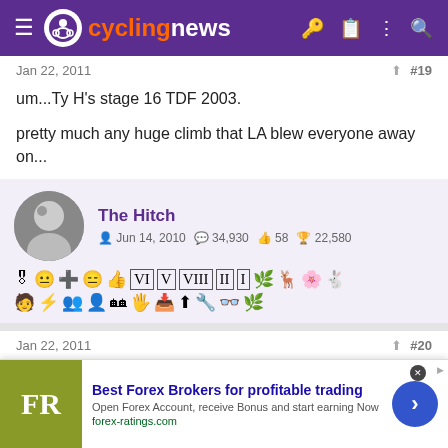cyclingnews
Jan 22, 2011   #19
um...Ty H's stage 16 TDF 2003.

pretty much any huge climb that LA blew everyone away on...
The Hitch — Jun 14, 2010 — 34,930 messages — 58 likes — 22,580 points
Jan 22, 2011   #20
Floyd into Morzine 2006 is the best ever, no doubt. If your going to
[Figure (screenshot): Advertisement banner: Best Forex Brokers for profitable trading. FR logo, forex-ratings.com]